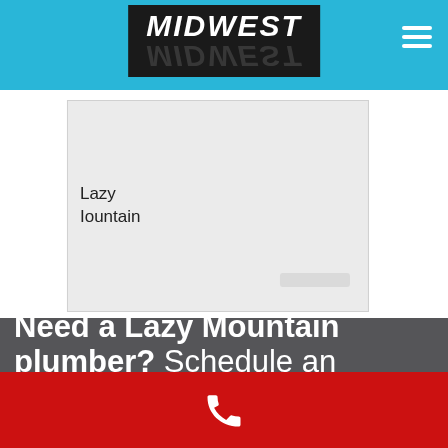[Figure (logo): Midwest logo in black box with italic bold white text, reflected below]
[Figure (map): A light gray map image showing 'Lazy Mountain' label]
Need a Lazy Mountain plumber? Schedule an
[Figure (illustration): Red bar with white phone icon]